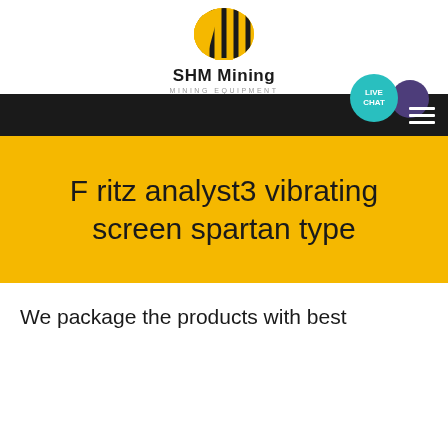[Figure (logo): SHM Mining logo with diagonal stripe pattern in a circular shape, black and yellow colors]
SHM Mining
MINING EQUIPMENT
F ritz analyst3 vibrating screen spartan type
We package the products with best